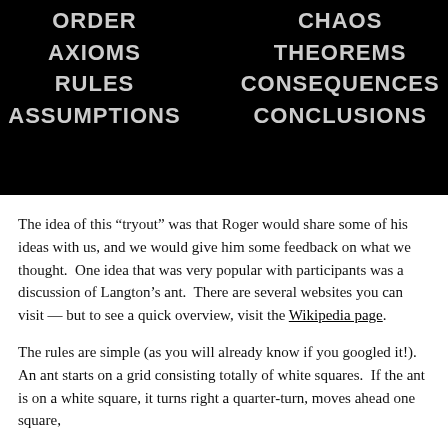[Figure (infographic): Black banner with two columns of bold gray words: left column: ORDER, AXIOMS, RULES, ASSUMPTIONS; right column: CHAOS, THEOREMS, CONSEQUENCES, CONCLUSIONS]
The idea of this “tryout” was that Roger would share some of his ideas with us, and we would give him some feedback on what we thought.  One idea that was very popular with participants was a discussion of Langton’s ant.  There are several websites you can visit — but to see a quick overview, visit the Wikipedia page.
The rules are simple (as you will already know if you googled it!).  An ant starts on a grid consisting totally of white squares.  If the ant is on a white square, it turns right a quarter-turn, moves ahead one square,